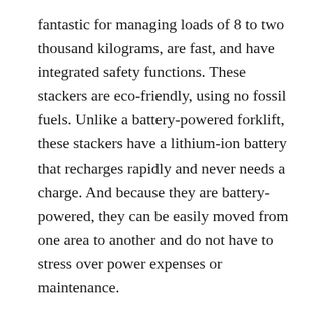fantastic for managing loads of 8 to two thousand kilograms, are fast, and have integrated safety functions. These stackers are eco-friendly, using no fossil fuels. Unlike a battery-powered forklift, these stackers have a lithium-ion battery that recharges rapidly and never needs a charge. And because they are battery-powered, they can be easily moved from one area to another and do not have to stress over power expenses or maintenance.
Stacker trucks have batteries to power the hydraulic power unit. This unit raises and